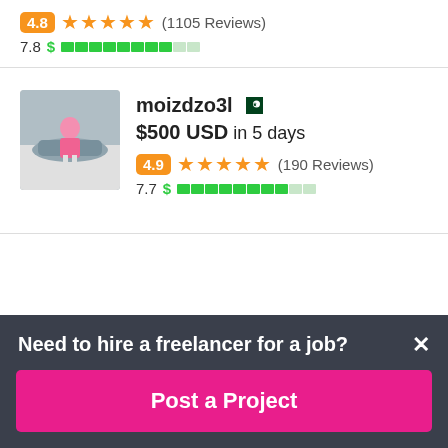4.8 ★★★★★ (1105 Reviews)
7.8 $ ████████░░
[Figure (photo): Profile photo of freelancer moizdzo3l, showing a person in pink standing next to a white car]
moizdzo3l 🇵🇰
$500 USD in 5 days
4.9 ★★★★★ (190 Reviews)
7.7 $ ████████░░
Need to hire a freelancer for a job?
Post a Project